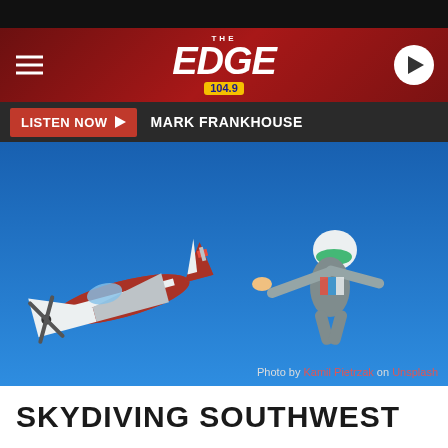[Figure (logo): The Edge 104.9 radio station logo on dark red header bar with hamburger menu icon on left and play button circle on right]
LISTEN NOW ▶  MARK FRANKHOUSE
[Figure (photo): Skydiver in colorful gear and white helmet jumping from a red and white small airplane against a bright blue sky. Photo credit: Photo by Kamil Pietrzak on Unsplash]
Photo by Kamil Pietrzak on Unsplash
SKYDIVING SOUTHWEST